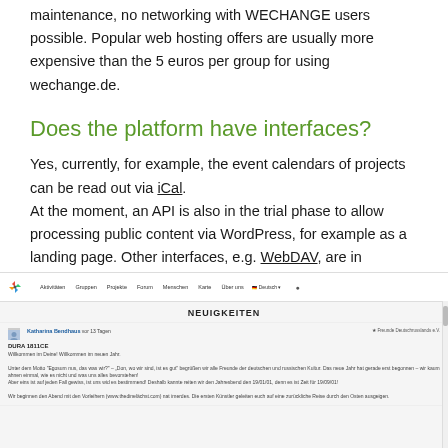maintenance, no networking with WECHANGE users possible. Popular web hosting offers are usually more expensive than the 5 euros per group for using wechange.de.
Does the platform have interfaces?
Yes, currently, for example, the event calendars of projects can be read out via iCal.
At the moment, an API is also in the trial phase to allow processing public content via WordPress, for example as a landing page. Other interfaces, e.g. WebDAV, are in planning.
[Figure (screenshot): Screenshot of the wechange.de platform showing the navigation bar with links (Aktivitäten, Gruppen, Projekte, Forum, Menschen, Karte, Über uns), a language selector showing Deutsch, a search icon, and a news feed section titled NEUIGKEITEN with a post from Katharina Bendhaus.]